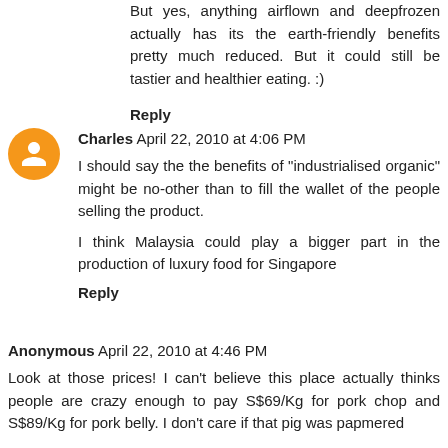But yes, anything airflown and deepfrozen actually has its the earth-friendly benefits pretty much reduced. But it could still be tastier and healthier eating. :)
Reply
Charles  April 22, 2010 at 4:06 PM
I should say the the benefits of "industrialised organic" might be no-other than to fill the wallet of the people selling the product.
I think Malaysia could play a bigger part in the production of luxury food for Singapore
Reply
Anonymous  April 22, 2010 at 4:46 PM
Look at those prices! I can't believe this place actually thinks people are crazy enough to pay S$69/Kg for pork chop and S$89/Kg for pork belly. I don't care if that pig was papmered